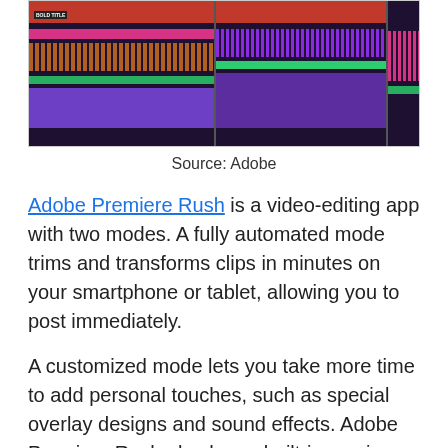[Figure (screenshot): Screenshot of Adobe Premiere Rush video editing interface showing timeline with clips, audio waveforms and purple timeline tracks across three panel views.]
Source: Adobe
Adobe Premiere Rush is a video-editing app with two modes. A fully automated mode trims and transforms clips in minutes on your smartphone or tablet, allowing you to post immediately.
A customized mode lets you take more time to add personal touches, such as special overlay designs and sound effects. Adobe Premiere Rush also has a built-in music library to add a